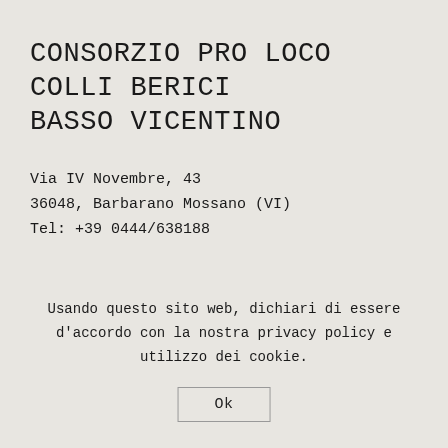CONSORZIO PRO LOCO COLLI BERICI BASSO VICENTINO
Via IV Novembre, 43
36048, Barbarano Mossano (VI)
Tel: +39 0444/638188
Usando questo sito web, dichiari di essere d'accordo con la nostra privacy policy e utilizzo dei cookie.
Ok